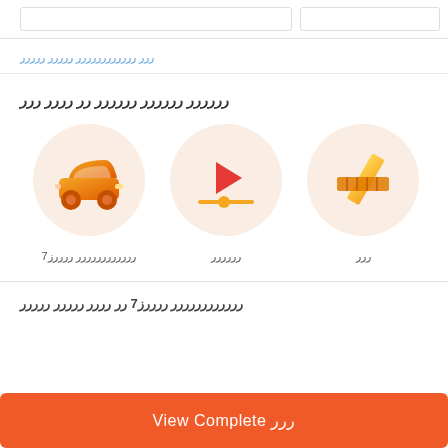ررر رررررررررررر ررررر ررررر
رررررر رررررر رررررر رر رررر ررر
[Figure (illustration): Car icon in orange on light peach circle background]
رررررررررررر ررررز7
[Figure (illustration): Video play button icon in orange/red on light peach circle background]
رررررر
[Figure (illustration): Design/editing tools icon in orange/yellow on light peach circle background]
ررر
رررررررررررر ررررز7 رر رررر ررررر ررررر
View Complete ررر